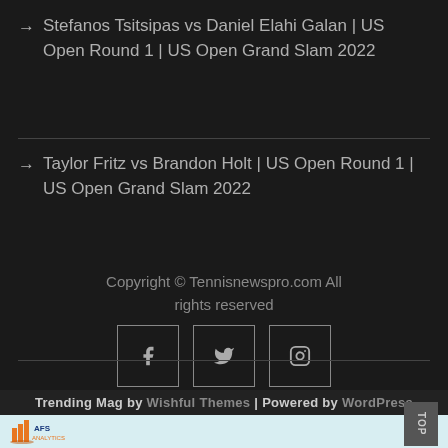→ Stefanos Tsitsipas vs Daniel Elahi Galan | US Open Round 1 | US Open Grand Slam 2022
→ Taylor Fritz vs Brandon Holt | US Open Round 1 | US Open Grand Slam 2022
Copyright © Tennisnewspro.com All rights reserved
[Figure (infographic): Social media icons: Facebook (f), Twitter (bird), Instagram (camera) in square outlines]
Trending Mag by Wishful Themes | Powered by WordPress
[Figure (logo): AFS Analytics logo — orange bar chart icon with AFS Analytics text in blue/orange]
[Figure (other): TOP button in grey box on right side]